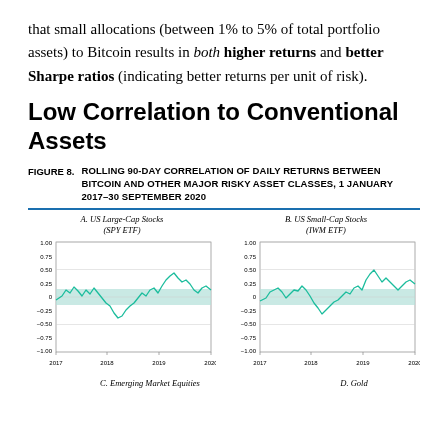that small allocations (between 1% to 5% of total portfolio assets) to Bitcoin results in both higher returns and better Sharpe ratios (indicating better returns per unit of risk).
Low Correlation to Conventional Assets
FIGURE 8. ROLLING 90-DAY CORRELATION OF DAILY RETURNS BETWEEN BITCOIN AND OTHER MAJOR RISKY ASSET CLASSES, 1 JANUARY 2017–30 SEPTEMBER 2020
[Figure (line-chart): Rolling 90-day correlation line chart showing correlation between Bitcoin and US Large-Cap Stocks (SPY ETF) from 2017 to 2020, with a shaded band around zero, correlation ranging from about -0.50 to 0.50]
[Figure (line-chart): Rolling 90-day correlation line chart showing correlation between Bitcoin and US Small-Cap Stocks (IWM ETF) from 2017 to 2020, with a shaded band around zero, correlation ranging from about -0.50 to 0.60]
C. Emerging Market Equities
D. Gold